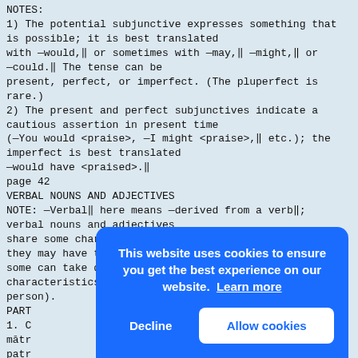NOTES:
1) The potential subjunctive expresses something that is possible; it is best translated with —would,‖ or sometimes with —may,‖ —might,‖ or —could.‖ The tense can be present, perfect, or imperfect. (The pluperfect is rare.)
2) The present and perfect subjunctives indicate a cautious assertion in present time (—You would <praise>, —I might <praise>,‖ etc.); the imperfect is best translated —would have <praised>.‖
page 42
VERBAL NOUNS AND ADJECTIVES
NOTE: —Verbal‖ here means —derived from a verb‖; verbal nouns and adjectives share some characteristics of finite verbs (e.g., they may have tense and voice, and some can take direct objects), but they lack other characteristics (e.g., they do not have person).
PART...
1. C...
mātr...
patr...
ab c...
patr...
cīvi...
Caes...
hear...
whil...
since he did not love the country.
after he had been seen by the citizens.
[Figure (screenshot): Cookie consent popup overlay with blue background. Text: 'This website uses cookies to ensure you get the best experience on our website. Learn more' with two buttons: 'Decline' and 'Allow cookies'.]